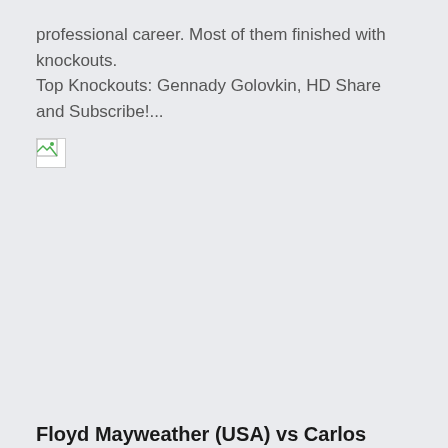professional career. Most of them finished with knockouts.
Top Knockouts: Gennady Golovkin, HD Share and Subscribe!...
[Figure (other): Broken/missing image icon placeholder]
Floyd Mayweather (USA) vs Carlos Baldomir (Argentina) | BOXING fight, HD
Professional american unbeaten boxer Floyd Mayweather with nickname "Money" against argentine middleweight top-